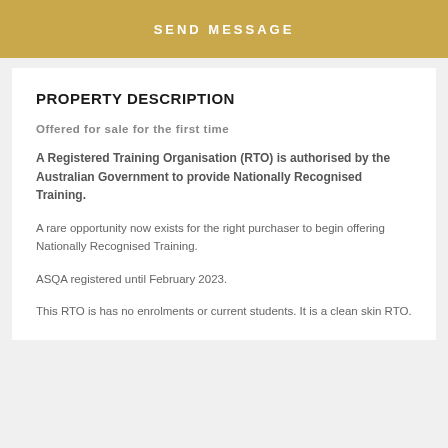SEND MESSAGE
PROPERTY DESCRIPTION
Offered for sale for the first time
A Registered Training Organisation (RTO) is authorised by the Australian Government to provide Nationally Recognised Training.
A rare opportunity now exists for the right purchaser to begin offering Nationally Recognised Training.
ASQA registered until February 2023.
This RTO is has no enrolments or current students. It is a clean skin RTO.